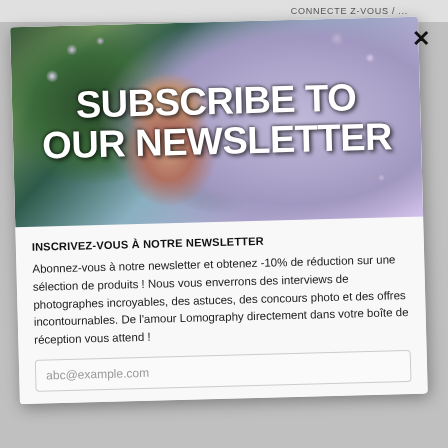CONNECTEZ-VOUS / ...
[Figure (photo): Newsletter banner photo: face of a child partially hidden among lilac/purple flowers with text 'SUBSCRIBE TO OUR NEWSLETTER' overlaid in large white bold uppercase letters]
INSCRIVEZ-VOUS À NOTRE NEWSLETTER
Abonnez-vous à notre newsletter et obtenez -10% de réduction sur une sélection de produits ! Nous vous enverrons des interviews de photographes incroyables, des astuces, des concours photo et des offres incontournables. De l'amour Lomography directement dans votre boîte de réception vous attend !
abc@example.com